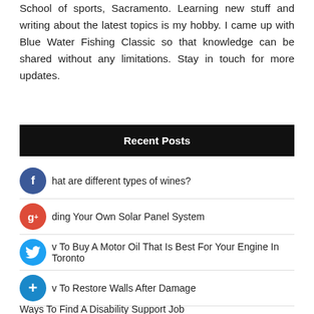School of sports, Sacramento. Learning new stuff and writing about the latest topics is my hobby. I came up with Blue Water Fishing Classic so that knowledge can be shared without any limitations. Stay in touch for more updates.
Recent Posts
What are different types of wines?
Building Your Own Solar Panel System
How To Buy A Motor Oil That Is Best For Your Engine In Toronto
How To Restore Walls After Damage
Ways To Find A Disability Support Job